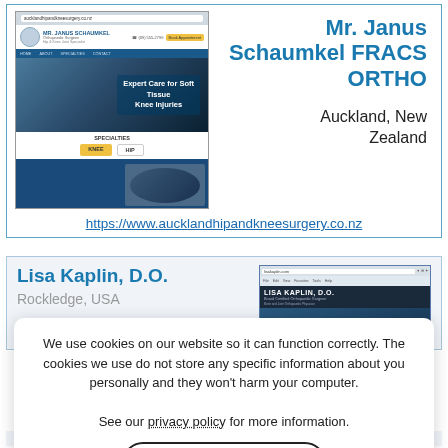[Figure (screenshot): Screenshot of Mr. Janus Schaumkel's website showing orthopaedic surgeon practice with 'Expert Care for Soft Tissue Knee Injuries' hero image, specialties section showing KNEE and HIP buttons]
Mr. Janus Schaumkel FRACS ORTHO
Auckland, New Zealand
https://www.aucklandhipandkneesurgery.co.nz
[Figure (screenshot): Screenshot of Lisa Kaplin D.O. website showing board-certified orthopaedic surgeon practice]
Lisa Kaplin, D.O.
Rockledge, USA
We use cookies on our website so it can function correctly. The cookies we use do not store any specific information about you personally and they won't harm your computer. See our privacy policy for more information.
Accept
https://www.kaplinsportsmed.com